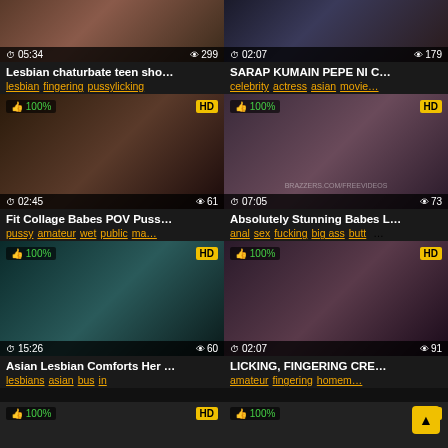[Figure (screenshot): Video thumbnail grid - adult video listing page with 6 visible cards in 2-column layout]
05:34  299  Lesbian chaturbate teen sho...  lesbian fingering pussylicking
02:07  179  SARAP KUMAIN PEPE NI C...  celebrity actress asian movie...
100% HD  02:45  61  Fit Collage Babes POV Puss...  pussy amateur wet public ma...
100% HD  07:05  73  Absolutely Stunning Babes L...  anal sex fucking big ass butt ...
100% HD  15:26  60  Asian Lesbian Comforts Her ...  lesbians asian bus in
100% HD  02:07  91  LICKING, FINGERING CRE...  amateur fingering homem...